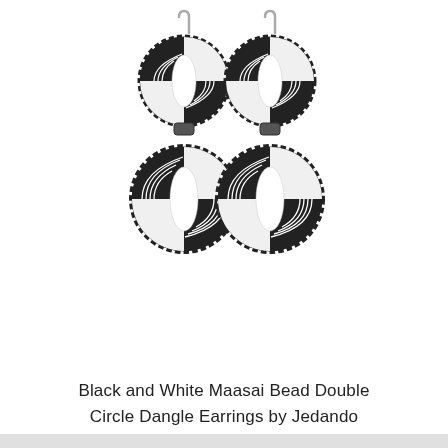[Figure (photo): A pair of black and white Maasai bead double circle dangle earrings. Each earring has two circular beaded segments with a checkered/pinwheel pattern in black and white/silver beads, suspended from silver fish-hook ear wires.]
Black and White Maasai Bead Double Circle Dangle Earrings by Jedando Handicrafts
$24.95